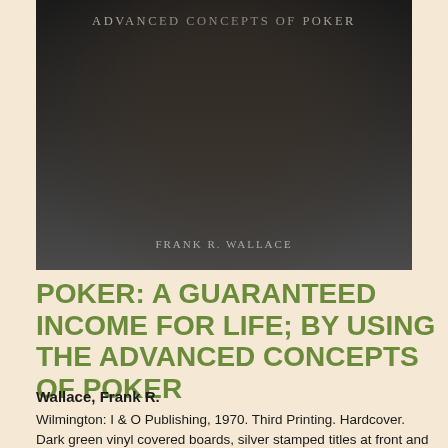[Figure (photo): Photograph of a dark green vinyl covered book with silver stamped title 'ADVANCED CONCEPTS OF POKER' at top and author name 'FRANK R. WALLACE' at bottom, displayed on a white surface.]
POKER: A GUARANTEED INCOME FOR LIFE; BY USING THE ADVANCED CONCEPTS OF POKER
Wallace, Frank R.
Wilmington: I & O Publishing, 1970. Third Printing. Hardcover. Dark green vinyl covered boards, silver stamped titles at front and spine, moderate shelf wear to edges and head and tail of spine, corners straight. Book body clean and tight, pages lightly age toned. Ex-